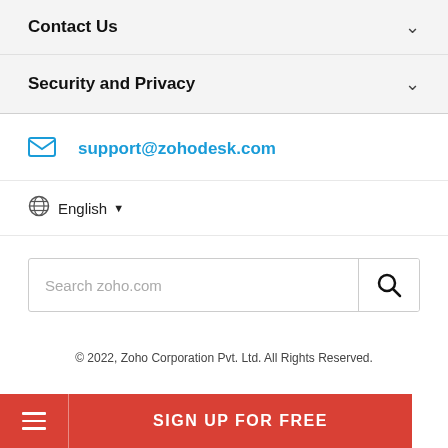Contact Us
Security and Privacy
support@zohodesk.com
English
Search zoho.com
© 2022, Zoho Corporation Pvt. Ltd. All Rights Reserved.
SIGN UP FOR FREE